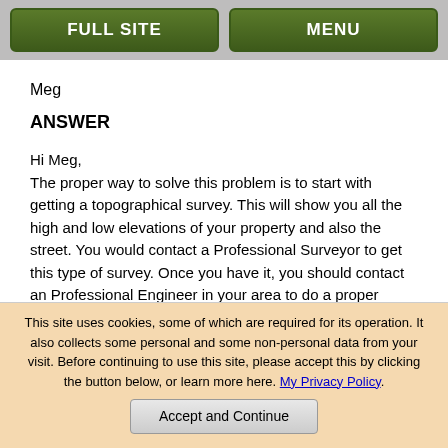FULL SITE  MENU
Meg
ANSWER
Hi Meg,
The proper way to solve this problem is to start with getting a topographical survey. This will show you all the high and low elevations of your property and also the street. You would contact a Professional Surveyor to get this type of survey. Once you have it, you should contact an Professional Engineer in your area to do a proper grading plan for you. Alternatively, you can go directly to an engineer. This process will solve your problem.
Apparently your property is lower than the point at which the water converges and it has no where else to go. It is possible an inlet would work if it is large enough.
There are different ways of solving water issues depending on the individual problem. However, at some point the water must be led
This site uses cookies, some of which are required for its operation. It also collects some personal and some non-personal data from your visit. Before continuing to use this site, please accept this by clicking the button below, or learn more here. My Privacy Policy.
Accept and Continue